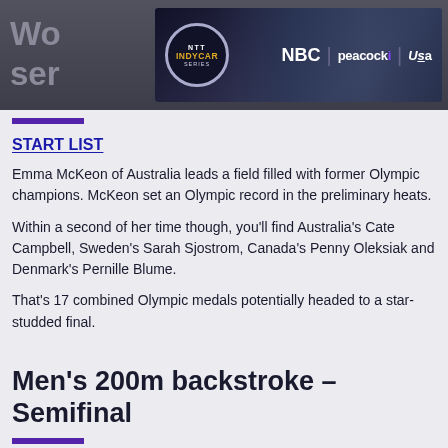[Figure (screenshot): NTT IndyCar Series advertisement banner featuring IndyCar logo, race cars, NBC, Peacock, and USA Network logos on dark background]
START LIST
Emma McKeon of Australia leads a field filled with former Olympic champions. McKeon set an Olympic record in the preliminary heats.
Within a second of her time though, you'll find Australia's Cate Campbell, Sweden's Sarah Sjostrom, Canada's Penny Oleksiak and Denmark's Pernille Blume.
That's 17 combined Olympic medals potentially headed to a star-studded final.
Men's 200m backstroke – Semifinal